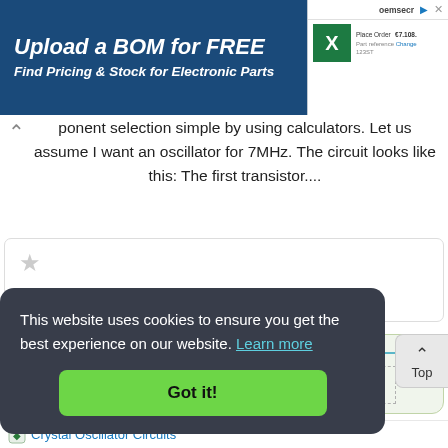[Figure (screenshot): Advertisement banner: 'Upload a BOM for FREE – Find Pricing & Stock for Electronic Parts' on dark blue background with Excel icon and oemsecrets UI screenshot on right side.]
...ponent selection simple by using calculators. Let us assume I want an oscillator for 7MHz. The circuit looks like this: The first transistor....
[Figure (screenshot): Cookie consent overlay with text 'This website uses cookies to ensure you get the best experience on our website. Learn more' and a green 'Got it!' button.]
Crystal Oscillator Circuits